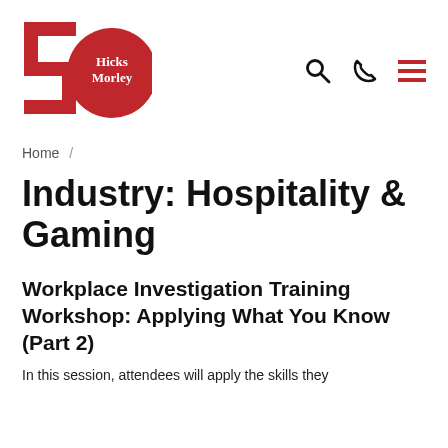[Figure (logo): Hicks Morley 50th anniversary logo — red '5' shape on left with red circle on right containing 'Hicks Morley' text in white]
Home /
Industry: Hospitality & Gaming
Workplace Investigation Training Workshop: Applying What You Know (Part 2)
In this session, attendees will apply the skills they